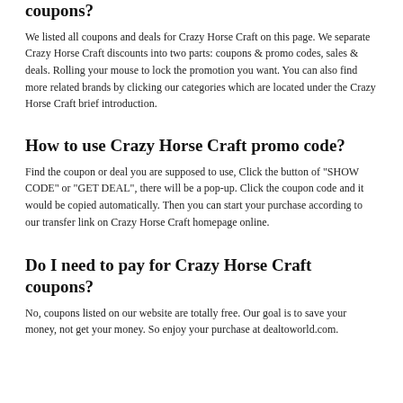coupons?
We listed all coupons and deals for Crazy Horse Craft on this page. We separate Crazy Horse Craft discounts into two parts: coupons & promo codes, sales & deals. Rolling your mouse to lock the promotion you want. You can also find more related brands by clicking our categories which are located under the Crazy Horse Craft brief introduction.
How to use Crazy Horse Craft promo code?
Find the coupon or deal you are supposed to use, Click the button of "SHOW CODE" or "GET DEAL", there will be a pop-up. Click the coupon code and it would be copied automatically. Then you can start your purchase according to our transfer link on Crazy Horse Craft homepage online.
Do I need to pay for Crazy Horse Craft coupons?
No, coupons listed on our website are totally free. Our goal is to save your money, not get your money. So enjoy your purchase at dealtoworld.com.